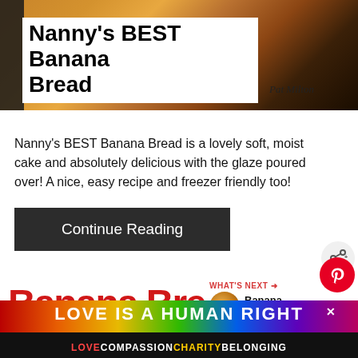[Figure (photo): Close-up photo of banana bread loaf, warm golden-brown color, with 'Pat Milton' written in cursive overlay]
Nanny's BEST Banana Bread
Nanny's BEST Banana Bread is a lovely soft, moist cake and absolutely delicious with the glaze poured over! A nice, easy recipe and freezer friendly too!
Continue Reading
[Figure (other): What's Next section with thumbnail - Banana Fritters,...]
[Figure (other): Bottom banner: LOVE IS A HUMAN RIGHT with rainbow colors and sub-text LOVECOMPASSIONCHARITYBELONGING]